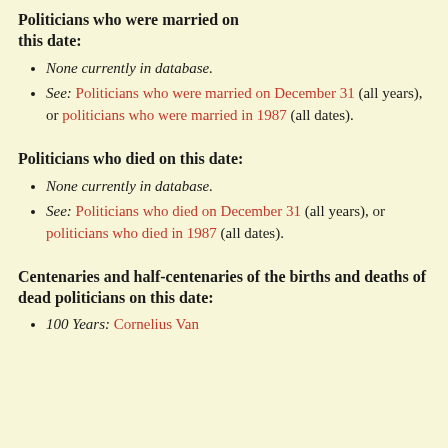Politicians who were married on this date:
None currently in database.
See: Politicians who were married on December 31 (all years), or politicians who were married in 1987 (all dates).
Politicians who died on this date:
None currently in database.
See: Politicians who died on December 31 (all years), or politicians who died in 1987 (all dates).
Centenaries and half-centenaries of the births and deaths of dead politicians on this date:
100 Years: Cornelius Van